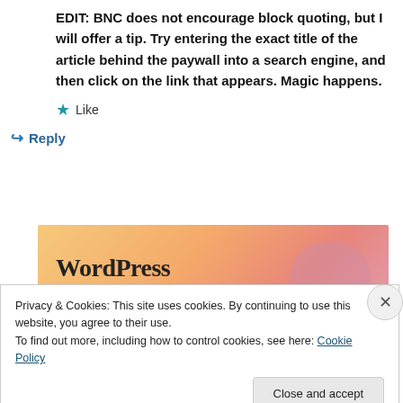EDIT: BNC does not encourage block quoting, but I will offer a tip. Try entering the exact title of the article behind the paywall into a search engine, and then click on the link that appears. Magic happens.
★ Like
↪ Reply
[Figure (illustration): Partial advertisement banner with colorful gradient background (orange, peach, pink) showing text 'WordPress in the back.' with decorative blob shape]
Privacy & Cookies: This site uses cookies. By continuing to use this website, you agree to their use. To find out more, including how to control cookies, see here: Cookie Policy
Close and accept